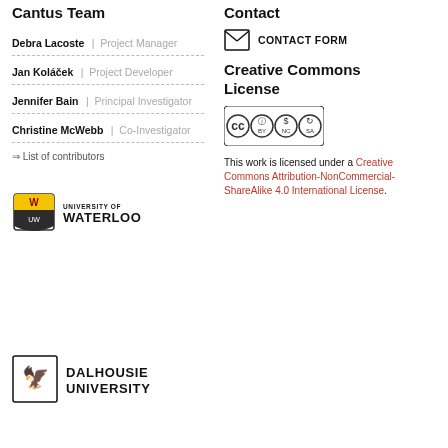Cantus Team
Debra Lacoste | Project Manager
Jan Koláček | Project Developer
Jennifer Bain | Principal Investigator
Christine McWebb | Co-Investigator
⇒ List of contributors
[Figure (logo): University of Waterloo logo with shield and wordmark]
[Figure (logo): Dalhousie University logo with eagle crest and wordmark]
Contact
CONTACT FORM
Creative Commons License
[Figure (logo): Creative Commons BY NC SA license badge]
This work is licensed under a Creative Commons Attribution-NonCommercial-ShareAlike 4.0 International License.